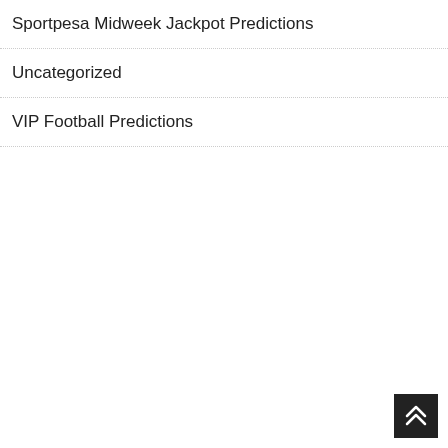Sportpesa Midweek Jackpot Predictions
Uncategorized
VIP Football Predictions